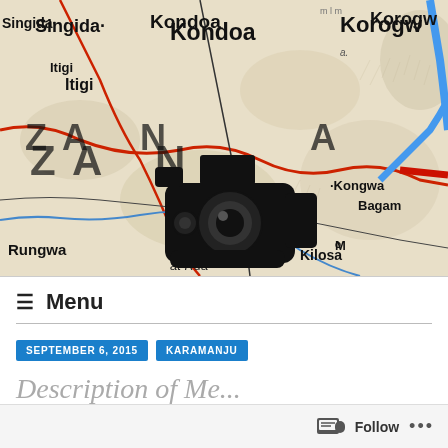[Figure (map): A map of Tanzania showing place names including Singida, Kondoa, Korogwe, Itigi, Kongwa, Dodoma, Bagamoyo, Kilosa, Rungwa, Ruaha with roads in red and blue. A black video camera icon overlaid on the center of the map.]
≡  Menu
SEPTEMBER 6, 2015
KARAMANJU
Follow
•••